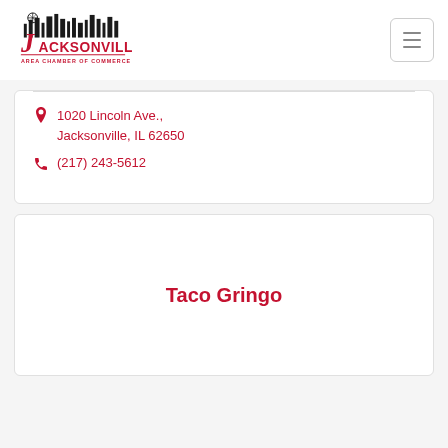Jacksonville Area Chamber of Commerce
1020 Lincoln Ave., Jacksonville, IL 62650
(217) 243-5612
Taco Gringo